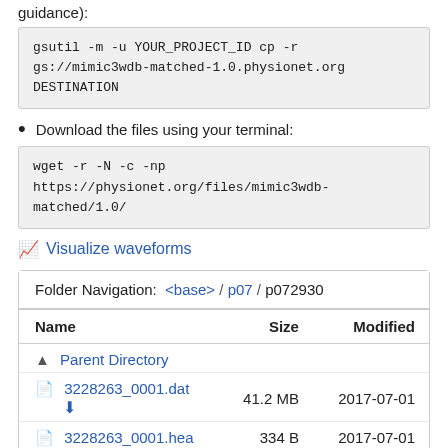guidance):
gsutil -m -u YOUR_PROJECT_ID cp -r gs://mimic3wdb-matched-1.0.physionet.org DESTINATION
Download the files using your terminal:
wget -r -N -c -np https://physionet.org/files/mimic3wdb-matched/1.0/
Visualize waveforms
| Name | Size | Modified |
| --- | --- | --- |
| Parent Directory |  |  |
| 3228263_0001.dat | 41.2 MB | 2017-07-01 |
| 3228263_0001.hea | 334 B | 2017-07-01 |